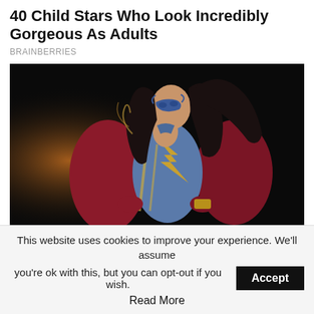40 Child Stars Who Look Incredibly Gorgeous As Adults
BRAINBERRIES
[Figure (photo): A young woman in Ms. Marvel superhero costume — blue bodysuit with gold lightning bolt design, red cape, and a blue domino mask — posing heroically with hair flowing against a dark background.]
The Upcoming Ms. Marvel Show Looks Very Promising
This website uses cookies to improve your experience. We'll assume you're ok with this, but you can opt-out if you wish.
Read More